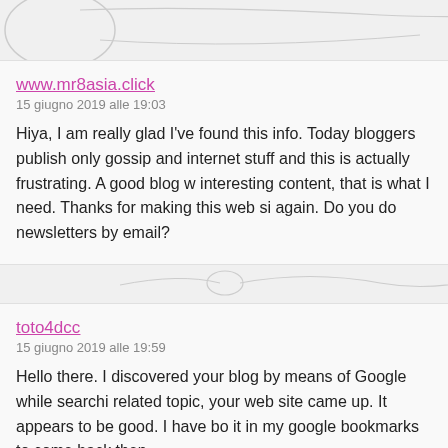www.mr8asia.click
15 giugno 2019 alle 19:03
Hiya, I am really glad I've found this info. Today bloggers publish only gossip and internet stuff and this is actually frustrating. A good blog with interesting content, that is what I need. Thanks for making this web si again. Do you do newsletters by email?
toto4dcc
15 giugno 2019 alle 19:59
Hello there. I discovered your blog by means of Google while searchi related topic, your web site came up. It appears to be good. I have bo it in my google bookmarks to come back then.
Download HP Printer Driver
15 giugno 2019 alle 20:46
Awesome post. I am a regular visitor of your site and appreciate you time to maintain the nice site. I will be a regular visitor for a long time.